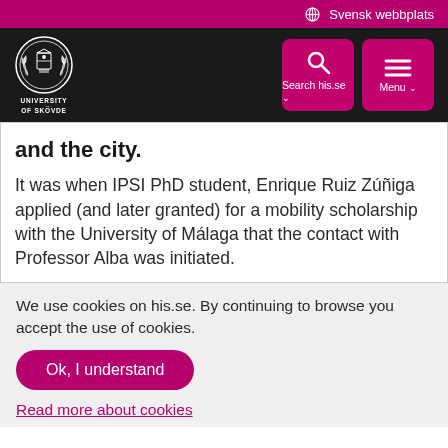🌐 Svensk webbplats
[Figure (logo): University of Skövde logo — white crest emblem on dark background with text UNIVERSITY OF SKÖVDE]
and the city.
It was when IPSI PhD student, Enrique Ruiz Zúñiga applied (and later granted) for a mobility scholarship with the University of Málaga that the contact with Professor Alba was initiated.
We use cookies on his.se. By continuing to browse you accept the use of cookies.
Ok, I understand
Read more about cookies